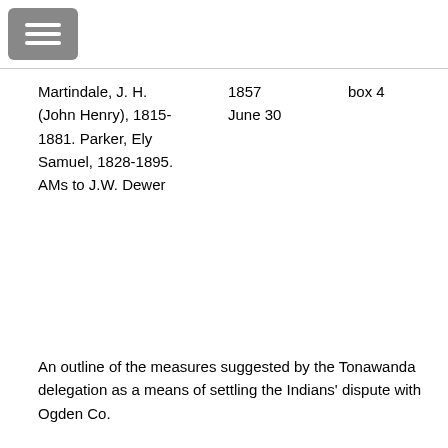Martindale, J. H. (John Henry), 1815-1881. Parker, Ely Samuel, 1828-1895. AMs to J.W. Dewer
1857 June 30
box 4
An outline of the measures suggested by the Tonawanda delegation as a means of settling the Indians' dispute with Ogden Co.